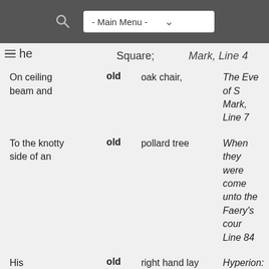- Main Menu -
| Phrase | Keyword | Context | Source |
| --- | --- | --- | --- |
| the |  | Square; | Mark, Line 4 |
| On ceiling beam and | old | oak chair, | The Eve of St. Mark, Line 7 |
| To the knotty side of an | old | pollard tree | When they were come unto the Faery's court, Line 84 |
| His | old | right hand lay nerveless, listless, dead, | Hyperion: A Fragment, Book I, Line |
| "Saturn, look up!- though wherefore, poor | old | King? | Hyperion: A Fragment, Book I, Line |